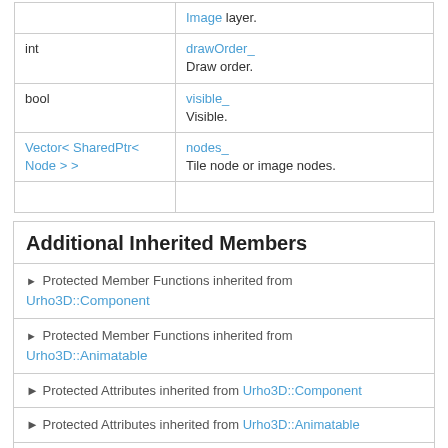| Type | Name/Description |
| --- | --- |
|  | Image layer. |
| int | drawOrder_
Draw order. |
| bool | visible_
Visible. |
| Vector< SharedPtr< Node > > | nodes_
Tile node or image nodes. |
|  |  |
Additional Inherited Members
Protected Member Functions inherited from Urho3D::Component
Protected Member Functions inherited from Urho3D::Animatable
Protected Attributes inherited from Urho3D::Component
Protected Attributes inherited from Urho3D::Animatable
Protected Attributes inherited from Urho3D::Serializable